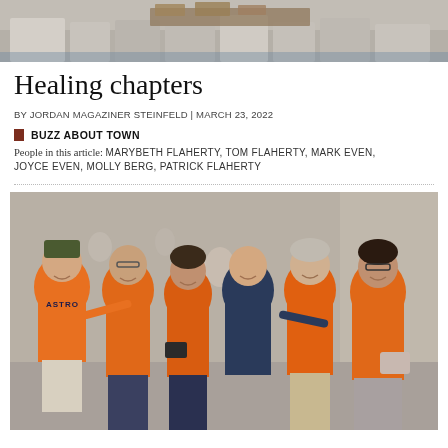[Figure (photo): Top portion of a photo showing people's legs and feet standing on a sidewalk near boxes on a cart]
Healing chapters
BY JORDAN MAGAZINER STEINFELD | MARCH 23, 2022
BUZZ ABOUT TOWN
People in this article: MARYBETH FLAHERTY, TOM FLAHERTY, MARK EVEN, JOYCE EVEN, MOLLY BERG, PATRICK FLAHERTY
[Figure (photo): Group of six people posing outdoors, most wearing orange Houston Astros shirts. One man on the left wears an orange Astros jersey, one man in the middle wears a dark Nike shirt. They are smiling and standing close together on a city sidewalk.]